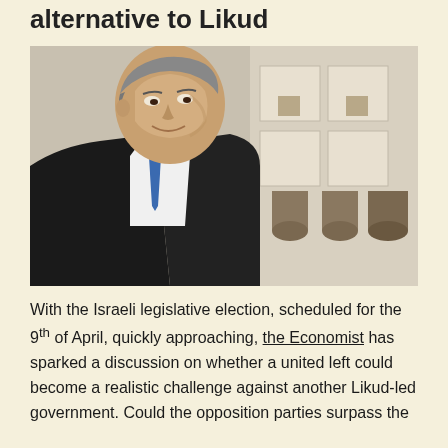alternative to Likud
[Figure (photo): Portrait photo of a man in a dark suit and blue tie, smiling slightly, looking to the side. Background shows blurred white shelves or cabinets.]
With the Israeli legislative election, scheduled for the 9th of April, quickly approaching, the Economist has sparked a discussion on whether a united left could become a realistic challenge against another Likud-led government. Could the opposition parties surpass the